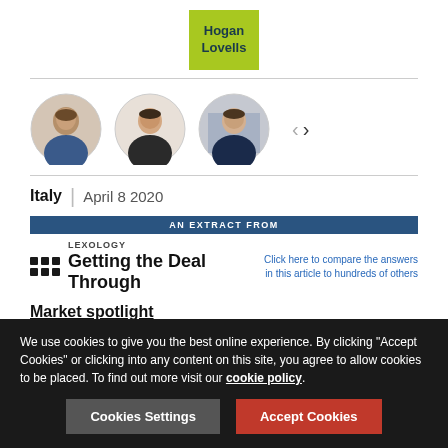[Figure (logo): Hogan Lovells logo — green/lime square background with dark teal text]
[Figure (photo): Three circular portrait photos of lawyers/professionals in a row, with left/right navigation arrows]
Italy | April 8 2020
AN EXTRACT FROM
[Figure (logo): Lexology Getting the Deal Through logo with grid dot pattern]
Click here to compare the answers in this article to hundreds of others
Market spotlight
We use cookies to give you the best online experience. By clicking "Accept Cookies" or clicking into any content on this site, you agree to allow cookies to be placed. To find out more visit our cookie policy